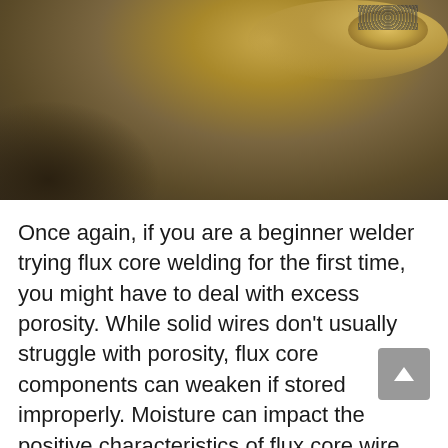[Figure (photo): Close-up photograph of a flux core weld bead showing golden/bronze coloration with some porosity visible, dark areas around the weld zone on a metal workpiece.]
Once again, if you are a beginner welder trying flux core welding for the first time, you might have to deal with excess porosity. While solid wires don't usually struggle with porosity, flux core components can weaken if stored improperly. Moisture can impact the positive characteristics of flux core wire, so you should make sure you store them properly.
Another common source of porosity in flux core is improper contact tip to work distance.
If you get too close to the workpiece with your